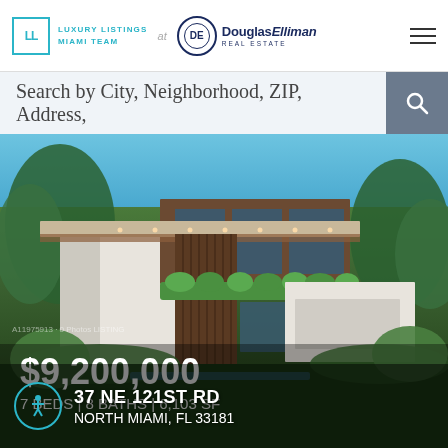LUXURY LISTINGS MIAMI TEAM at Douglas Elliman Real Estate
Search by City, Neighborhood, ZIP, Address,
[Figure (photo): Modern two-story luxury home with flat roof, wood and white stucco exterior, surrounded by tropical landscaping under a blue sky]
$9,200,000
7 BEDS | 8 BATHS | 6,103 SF
37 NE 121ST RD
NORTH MIAMI, FL 33181